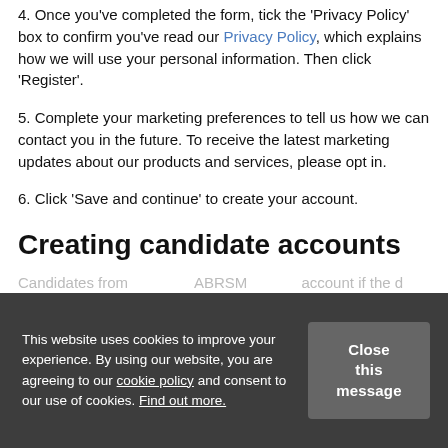4. Once you've completed the form, tick the 'Privacy Policy' box to confirm you've read our Privacy Policy, which explains how we will use your personal information. Then click 'Register'.
5. Complete your marketing preferences to tell us how we can contact you in the future. To receive the latest marketing updates about our products and services, please opt in.
6. Click 'Save and continue' to create your account.
Creating candidate accounts
Candidates from ...ABRSM... account if the d...
This website uses cookies to improve your experience. By using our website, you are agreeing to our cookie policy and consent to our use of cookies. Find out more.